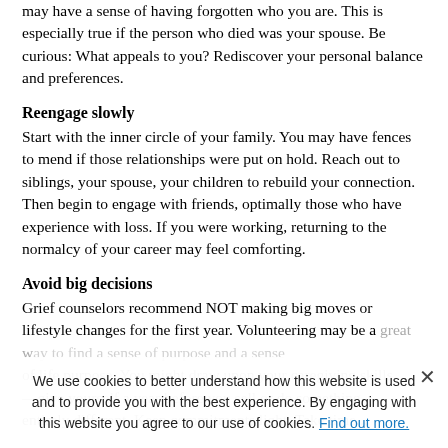may have a sense of having forgotten who you are. This is especially true if the person who died was your spouse. Be curious: What appeals to you? Rediscover your personal balance and preferences.
Reengage slowly
Start with the inner circle of your family. You may have fences to mend if those relationships were put on hold. Reach out to siblings, your spouse, your children to rebuild your connection. Then begin to engage with friends, optimally those who have experience with loss. If you were working, returning to the normalcy of your career may feel comforting.
Avoid big decisions
Grief counselors recommend NOT making big moves or lifestyle changes for the first year. Volunteering may be a great way to find a sense of purpose and a sense of life purpose. You might draw upon your caregiving skills—give yourself a year before you sell or do something entirely different. Keep commitments light. Take time...
We use cookies to better understand how this website is used and to provide you with the best experience. By engaging with this website you agree to our use of cookies. Find out more.